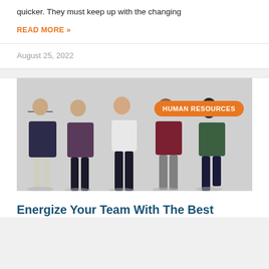quicker. They must keep up with the changing
READ MORE »
August 25, 2022
[Figure (photo): Five professionals standing against a light gray wall with arms crossed, with an orange 'HUMAN RESOURCES' badge in the upper right]
Energize Your Team With The Best